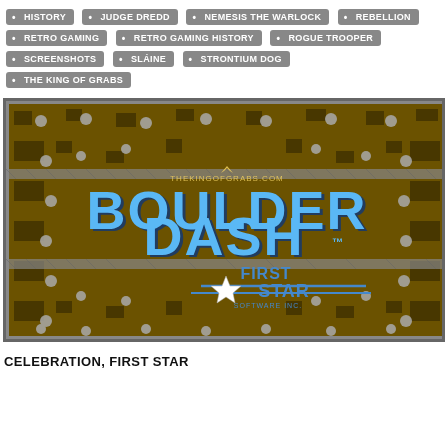HISTORY
JUDGE DREDD
NEMESIS THE WARLOCK
REBELLION
RETRO GAMING
RETRO GAMING HISTORY
ROGUE TROOPER
SCREENSHOTS
SLÁINE
STRONTIUM DOG
THE KING OF GRABS
[Figure (screenshot): Boulder Dash game title screen by First Star Software, showing the game logo in blue pixel letters on a brown dirt/boulder background with gray border. The King of Grabs watermark is visible.]
CELEBRATION, FIRST STAR